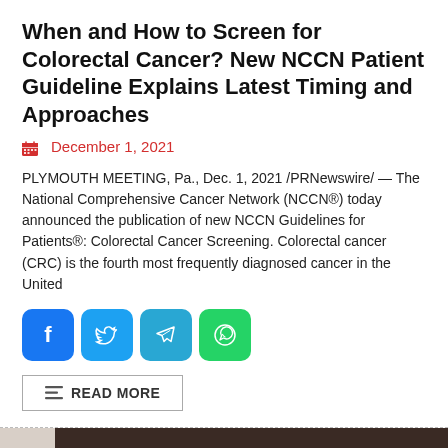When and How to Screen for Colorectal Cancer? New NCCN Patient Guideline Explains Latest Timing and Approaches
December 1, 2021
PLYMOUTH MEETING, Pa., Dec. 1, 2021 /PRNewswire/ — The National Comprehensive Cancer Network (NCCN®) today announced the publication of new NCCN Guidelines for Patients®: Colorectal Cancer Screening. Colorectal cancer (CRC) is the fourth most frequently diagnosed cancer in the United
[Figure (infographic): Social media sharing buttons: Facebook (blue), Twitter (blue), Telegram (light blue), WhatsApp (green)]
READ MORE
[Figure (photo): Two men in suits standing in front of a backdrop with БОДЬ ДААЛГАЛ and EVITA branding]